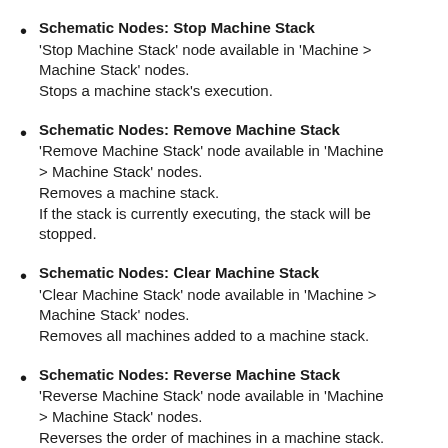Schematic Nodes: Stop Machine Stack
'Stop Machine Stack' node available in 'Machine > Machine Stack' nodes.
Stops a machine stack's execution.
Schematic Nodes: Remove Machine Stack
'Remove Machine Stack' node available in 'Machine > Machine Stack' nodes.
Removes a machine stack.
If the stack is currently executing, the stack will be stopped.
Schematic Nodes: Clear Machine Stack
'Clear Machine Stack' node available in 'Machine > Machine Stack' nodes.
Removes all machines added to a machine stack.
Schematic Nodes: Reverse Machine Stack
'Reverse Machine Stack' node available in 'Machine > Machine Stack' nodes.
Reverses the order of machines in a machine stack.
Schematic Nodes: Shuffle Machine Stack